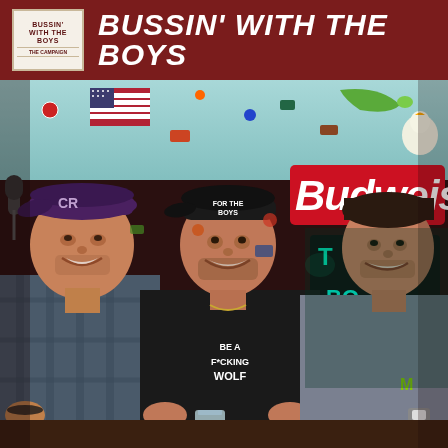BUSSIN' WITH THE BOYS
[Figure (photo): Three men sitting inside a decorated bus/bar with stickers, neon signs including Budweiser, American flag on the ceiling. Left man wears a Colorado Rockies cap and plaid shirt, center man wears a black 'FOR THE BOYS' cap and black t-shirt reading 'BE A FUCKING WOLF', right man wears a grey shirt. Background shows neon signs and various stickers on walls and ceiling.]